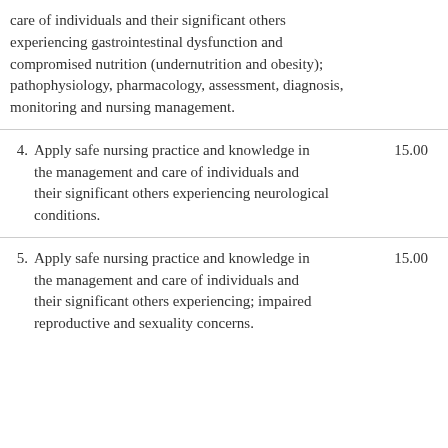care of individuals and their significant others experiencing gastrointestinal dysfunction and compromised nutrition (undernutrition and obesity); pathophysiology, pharmacology, assessment, diagnosis, monitoring and nursing management.
4. Apply safe nursing practice and knowledge in the management and care of individuals and their significant others experiencing neurological conditions. 15.00
5. Apply safe nursing practice and knowledge in the management and care of individuals and their significant others experiencing; impaired reproductive and sexuality concerns. 15.00